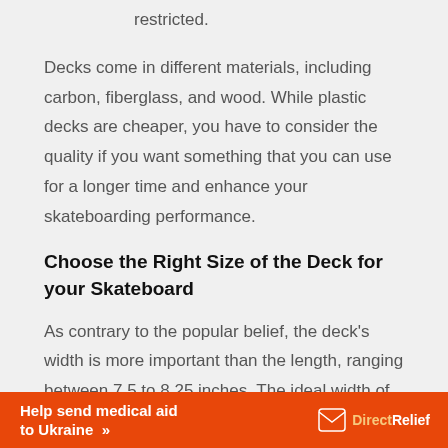restricted.
Decks come in different materials, including carbon, fiberglass, and wood. While plastic decks are cheaper, you have to consider the quality if you want something that you can use for a longer time and enhance your skateboarding performance.
Choose the Right Size of the Deck for your Skateboard
As contrary to the popular belief, the deck’s width is more important than the length, ranging between 7.5 to 8.25 inches. The ideal width of your deck depends on
[Figure (infographic): Orange advertising banner: 'Help send medical aid to Ukraine >>' with DirectRelief logo on the right.]